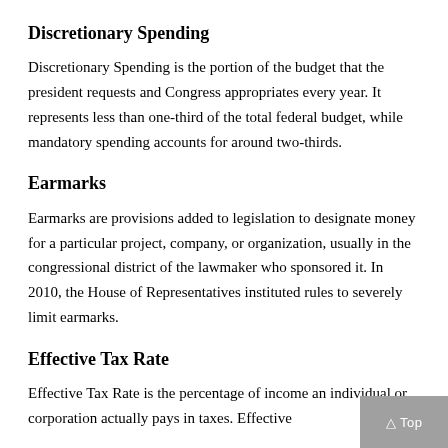Discretionary Spending
Discretionary Spending is the portion of the budget that the president requests and Congress appropriates every year. It represents less than one-third of the total federal budget, while mandatory spending accounts for around two-thirds.
Earmarks
Earmarks are provisions added to legislation to designate money for a particular project, company, or organization, usually in the congressional district of the lawmaker who sponsored it. In 2010, the House of Representatives instituted rules to severely limit earmarks.
Effective Tax Rate
Effective Tax Rate is the percentage of income an individual or corporation actually pays in taxes. Effective